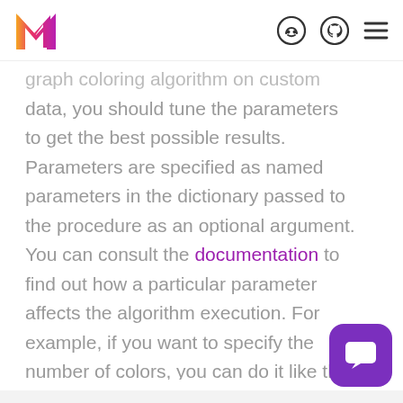[Figure (logo): Memgraph M logo in orange/pink gradient]
[Figure (other): Discord, GitHub, and hamburger menu icons in navbar]
graph coloring algorithm on custom data, you should tune the parameters to get the best possible results. Parameters are specified as named parameters in the dictionary passed to the procedure as an optional argument. You can consult the documentation to find out how a particular parameter affects the algorithm execution. For example, if you want to specify the number of colors, you can do it like th
[Figure (other): Purple chat widget button in bottom-right corner]